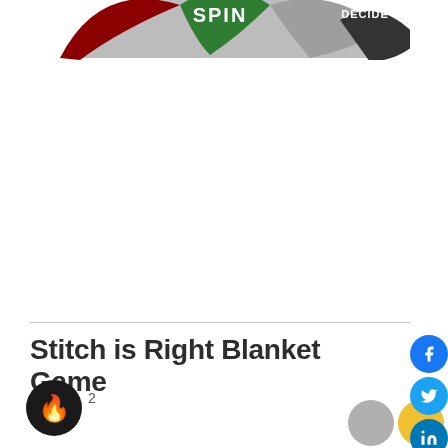[Figure (screenshot): Partial view of a spinner/wheel game interface showing colored segments with text 'SPIN' and 'DECIDE' visible at the top of the page]
Stitch is Right Blanket Game
[Figure (illustration): Black circular badge with fire emoji icon]
[Figure (illustration): Social media sharing buttons on right side: Facebook (blue), Twitter (blue), LinkedIn (blue), Pinterest (red), Reddit (orange), WhatsApp (green)]
[Figure (illustration): Two partially visible circular share buttons at bottom right, one grey and one yellow/gold]